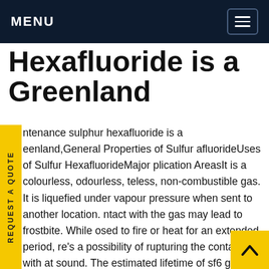MENU
Hexafluoride is a Greenland
ntenance sulphur hexafluoride is a eenland,General Properties of Sulfur afluorideUses of Sulfur HexafluorideMajor plication AreasIt is a colourless, odourless, teless, non-combustible gas. It is liquefied under vapour pressure when sent to another location. ntact with the gas may lead to frostbite. While osed to fire or heat for an extended period, re's a possibility of rupturing the container with at sound. The estimated lifetime of sf6 gasis in the range of 800-3200 years. 1. Atomic Structure (Image to be added soon) This picture depicts the structure of sulfur hexafluoride. 1. Density The